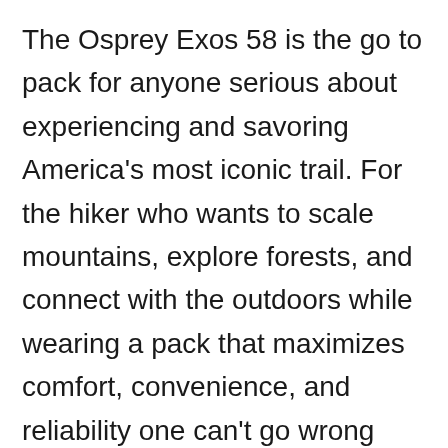The Osprey Exos 58 is the go to pack for anyone serious about experiencing and savoring America's most iconic trail. For the hiker who wants to scale mountains, explore forests, and connect with the outdoors while wearing a pack that maximizes comfort, convenience, and reliability one can't go wrong with the Osprey Exos 58.
This pack is for the adventurer who wants to go light. And why not go light? Every